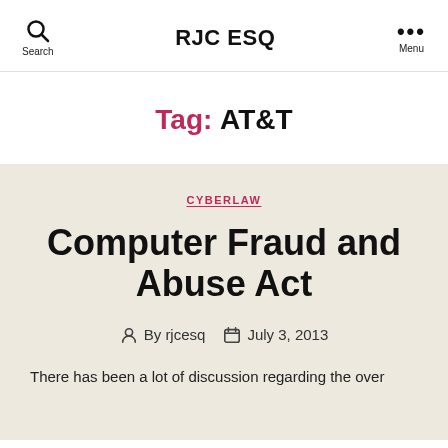RJC ESQ
Tag: AT&T
CYBERLAW
Computer Fraud and Abuse Act
By rjcesq   July 3, 2013
There has been a lot of discussion regarding the over